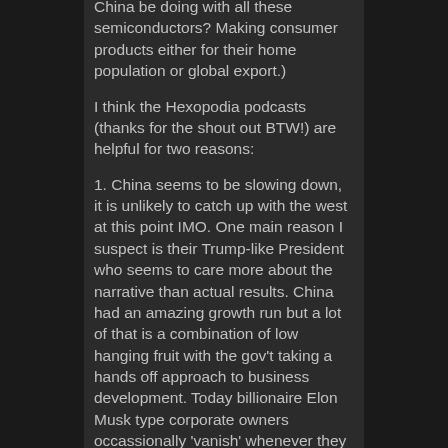China be doing with all these semiconductors? Making consumer products either for their home population or global export.)
I think the Hexopodia podcasts (thanks for the shout out BTW!) are helpful for two reasons:
1. China seems to be slowing down, it is unlikely to catch up with the west at this point IMO. One main reason I suspect is their Trump-like President who seems to care more about the narrative than actual results. China had an amazing growth run but a lot of that is a combination of low hanging fruit with the gov't taking a hands off approach to business development. Today billionaire Elon Musk type corporate owners occassionally 'vanish' whenever they get a little too